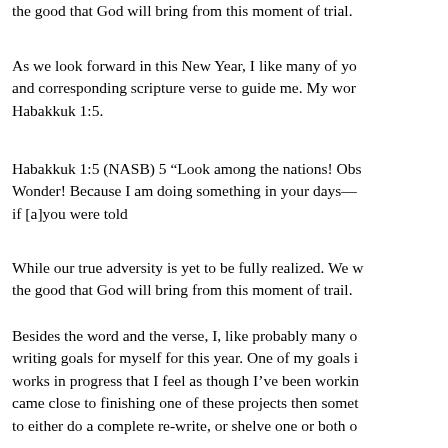the good that God will bring from this moment of trial.
As we look forward in this New Year, I like many of yo and corresponding scripture verse to guide me. My wor Habakkuk 1:5.
Habakkuk 1:5 (NASB) 5 “Look among the nations! Obs Wonder! Because I am doing something in your days— if [a]you were told
While our true adversity is yet to be fully realized. We w the good that God will bring from this moment of trail.
Besides the word and the verse, I, like probably many o writing goals for myself for this year. One of my goals i works in progress that I feel as though I’ve been workin came close to finishing one of these projects then somet to either do a complete re-write, or shelve one or both o